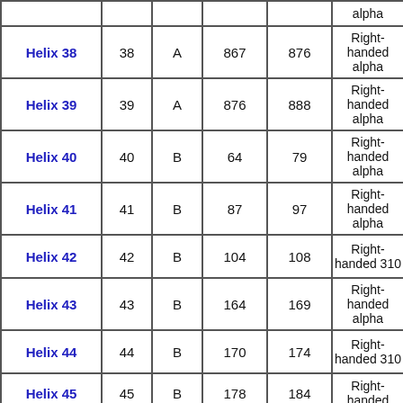|  |  |  |  |  | alpha |
| --- | --- | --- | --- | --- | --- |
| Helix 38 | 38 | A | 867 | 876 | Right-handed alpha |
| Helix 39 | 39 | A | 876 | 888 | Right-handed alpha |
| Helix 40 | 40 | B | 64 | 79 | Right-handed alpha |
| Helix 41 | 41 | B | 87 | 97 | Right-handed alpha |
| Helix 42 | 42 | B | 104 | 108 | Right-handed 310 |
| Helix 43 | 43 | B | 164 | 169 | Right-handed alpha |
| Helix 44 | 44 | B | 170 | 174 | Right-handed 310 |
| Helix 45 | 45 | B | 178 | 184 | Right-handed ... |